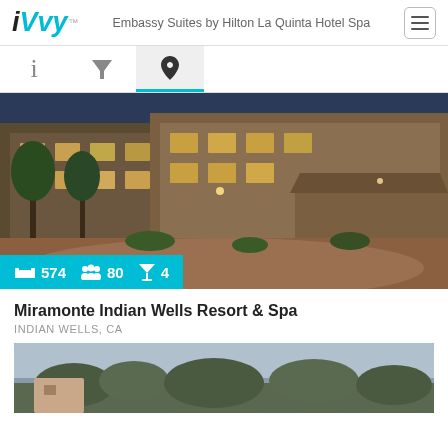iVvy | Embassy Suites by Hilton La Quinta Hotel Spa
[Figure (screenshot): Navigation tab bar with info, filter, and location icons; location tab is active with blue underline]
[Figure (photo): Exterior night photo of Embassy Suites by Hilton La Quinta Hotel Spa showing hotel entrance with warm lighting]
574 | 80 | 4
Miramonte Indian Wells Resort & Spa
INDIAN WELLS, CA
[Figure (photo): Exterior photo of Miramonte Indian Wells Resort & Spa showing landscape with trees and Mediterranean-style architecture]